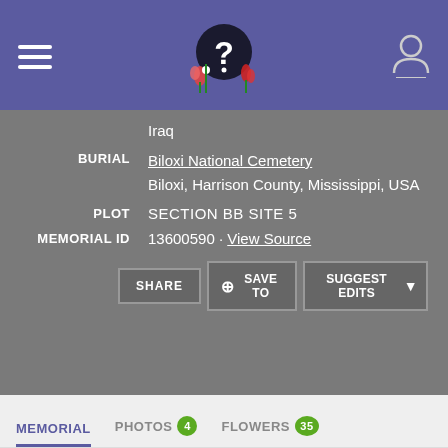Find A Grave memorial page header with navigation
Iraq
BURIAL: Biloxi National Cemetery, Biloxi, Harrison County, Mississippi, USA
PLOT: SECTION BB SITE 5
MEMORIAL ID: 13600590 · View Source
Buttons: SHARE, + SAVE TO, SUGGEST EDITS
Tabs: MEMORIAL, PHOTOS 4, FLOWERS 35